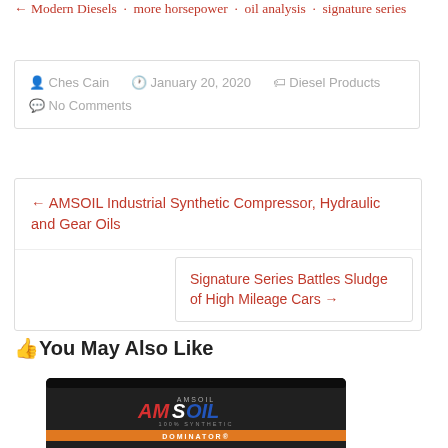← Modern Diesels · more horsepower · oil analysis · signature series
Ches Cain  January 20, 2020  Diesel Products  No Comments
← AMSOIL Industrial Synthetic Compressor, Hydraulic and Gear Oils
Signature Series Battles Sludge of High Mileage Cars →
👍You May Also Like
[Figure (photo): AMSOIL 100% Synthetic Dominator Competition Diesel Oil product container, black with orange and white branding.]